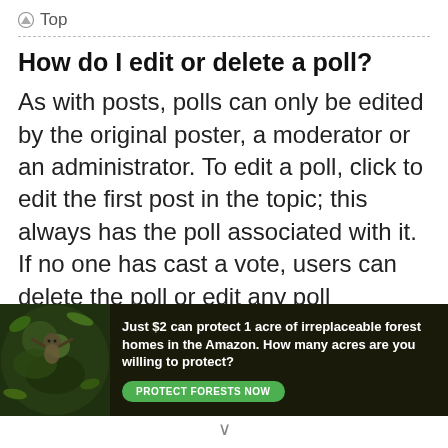Top
How do I edit or delete a poll?
As with posts, polls can only be edited by the original poster, a moderator or an administrator. To edit a poll, click to edit the first post in the topic; this always has the poll associated with it. If no one has cast a vote, users can delete the poll or edit any poll
[Figure (infographic): Advertisement banner: forest conservation. Text reads 'Just $2 can protect 1 acre of irreplaceable forest homes in the Amazon. How many acres are you willing to protect?' with a green 'PROTECT FORESTS NOW' button and an image of a sloth in a forest setting.]